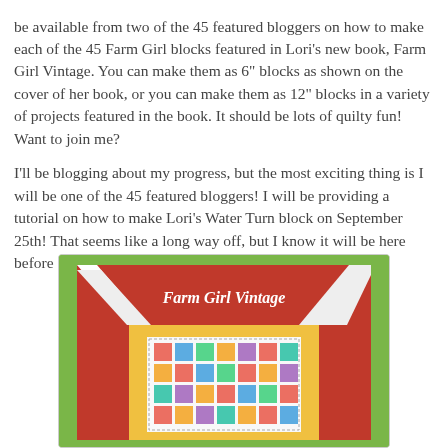be available from two of the 45 featured bloggers on how to make each of the 45 Farm Girl blocks featured in Lori's new book, Farm Girl Vintage. You can make them as 6" blocks as shown on the cover of her book, or you can make them as 12" blocks in a variety of projects featured in the book. It should be lots of quilty fun! Want to join me?
I'll be blogging about my progress, but the most exciting thing is I will be one of the 45 featured bloggers! I will be providing a tutorial on how to make Lori's Water Turn block on September 25th! That seems like a long way off, but I know it will be here before I know it!
[Figure (photo): Photo of the Farm Girl Vintage quilt book cover, showing the book propped up with a red barn-shaped quilt block frame, a yellow inner border, and a sampler quilt on the cover with multiple small patchwork blocks. The book title 'Farm Girl Vintage' is written in white text on the red barn top.]